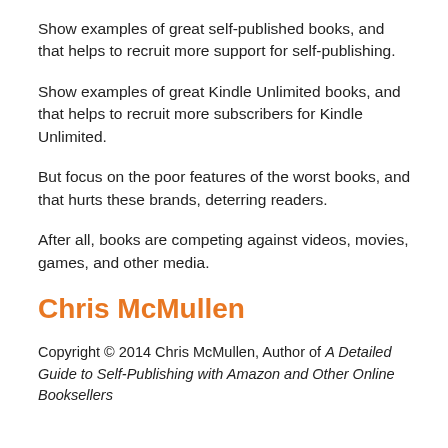Show examples of great self-published books, and that helps to recruit more support for self-publishing.
Show examples of great Kindle Unlimited books, and that helps to recruit more subscribers for Kindle Unlimited.
But focus on the poor features of the worst books, and that hurts these brands, deterring readers.
After all, books are competing against videos, movies, games, and other media.
Chris McMullen
Copyright © 2014 Chris McMullen, Author of A Detailed Guide to Self-Publishing with Amazon and Other Online Booksellers